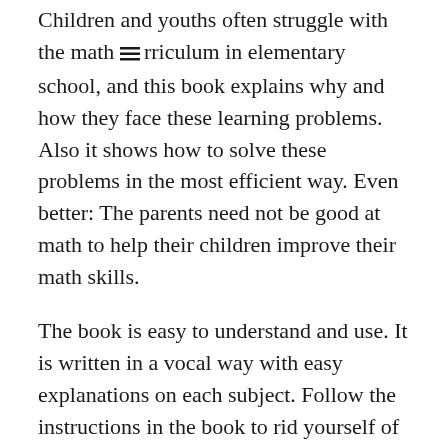Children and youths often struggle with the math curriculum in elementary school, and this book explains why and how they face these learning problems. Also it shows how to solve these problems in the most efficient way. Even better: The parents need not be good at math to help their children improve their math skills.
The book is easy to understand and use. It is written in a vocal way with easy explanations on each subject. Follow the instructions in the book to rid yourself of your math problems — once and for all. The book was the most sold Norwegian non-fiction title first half 2017.